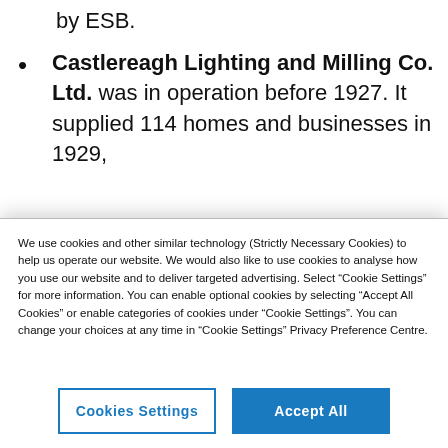by ESB. Castlereagh Lighting and Milling Co. Ltd. was in operation before 1927. It supplied 114 homes and businesses in 1929, rising to 171 in 1929 before the
We use cookies and other similar technology (Strictly Necessary Cookies) to help us operate our website. We would also like to use cookies to analyse how you use our website and to deliver targeted advertising. Select “Cookie Settings” for more information. You can enable optional cookies by selecting “Accept All Cookies” or enable categories of cookies under “Cookie Settings”. You can change your choices at any time in “Cookie Settings” Privacy Preference Centre.